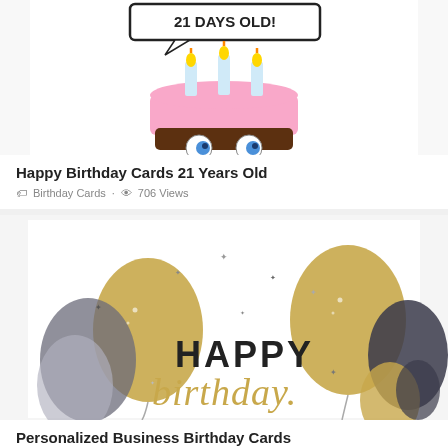[Figure (photo): Birthday cupcake with candles and speech bubble text '21 DAYS OLD!' with cartoon eyes]
Happy Birthday Cards 21 Years Old
Birthday Cards · 706 Views
[Figure (photo): Happy Birthday card with gold and dark gray balloons on white background with 'HAPPY birthday' text in gold and black]
Personalized Business Birthday Cards
Birthday Cards · 920 Views